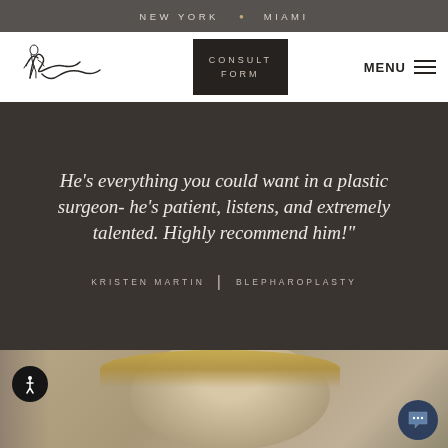NEW YORK • MIAMI
[Figure (logo): Cursive signature logo of a plastic surgery practice]
CONSULT FORM
MENU
He's everything you could want in a plastic surgeon- he's patient, listens, and extremely talented. Highly recommend him!"
KRISTEN MARTIN | BLEPHAROPLASTY
[Figure (photo): Partial photo of a blonde woman, bottom portion of face visible, warm taupe background]